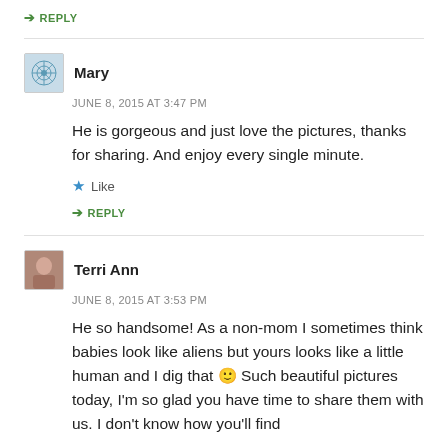↳ REPLY
Mary
JUNE 8, 2015 AT 3:47 PM
He is gorgeous and just love the pictures, thanks for sharing. And enjoy every single minute.
★ Like
↳ REPLY
Terri Ann
JUNE 8, 2015 AT 3:53 PM
He so handsome! As a non-mom I sometimes think babies look like aliens but yours looks like a little human and I dig that 🙂 Such beautiful pictures today, I'm so glad you have time to share them with us. I don't know how you'll find